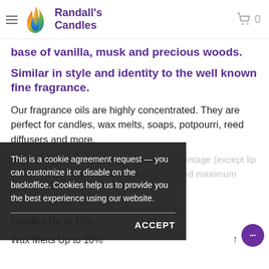Randall's Candles
base of vanilla, musk and precious woods.
Similar in style and identity to the well known fine fragrance.
Our fragrance oils are highly concentrated. They are perfect for candles, wax melts, soaps, potpourri, reed diffusers and more.
Scents should be used at the correct percentage (except lip balm). Please refer to the IFRA for permitted maximum usages Usage. Maximum content
Candles Up to 10%
Wax Melts Up to 10%
Body use (Includes soap) Up to 2%
This is a cookie agreement request — you can customize it or disable on the backoffice. Cookies help us to provide you the best experience using our website.
ACCEPT